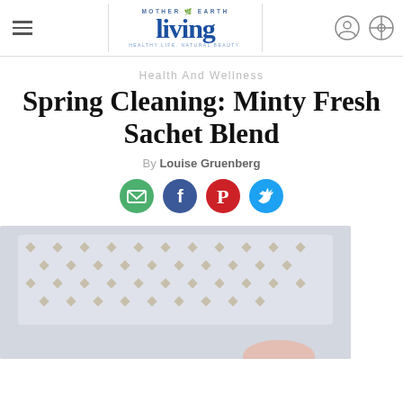Mother Earth Living — Health And Wellness
Health And Wellness
Spring Cleaning: Minty Fresh Sachet Blend
By Louise Gruenberg
[Figure (infographic): Social share icons: email (green circle), Facebook (blue circle), Pinterest (red circle), Twitter (blue circle)]
[Figure (photo): Close-up photo of white lace fabric sachet with a hand visible at the bottom right]